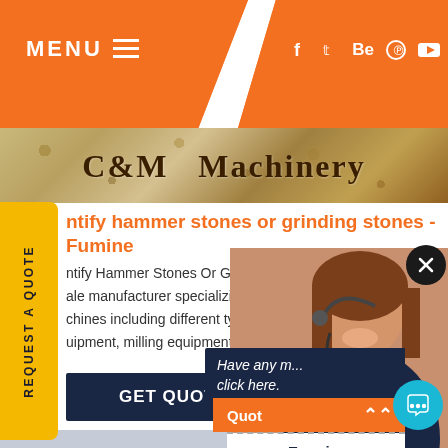MENU  ≡   f  t  Be  ⊕  ▶
[Figure (screenshot): C&M Machinery website banner with rocky/stone texture background]
ntify hammer stones or grinding stones -Fumine
ntify Hammer Stones Or Grinding Stones. ale manufacturer specializing in producing chines including different types of sand ar uipment, milling equipment, mineral proces
[Figure (photo): Customer service woman wearing headset smiling]
GET QUOTE
Have any   click here.
Quot
Enquiry
drobilkalm